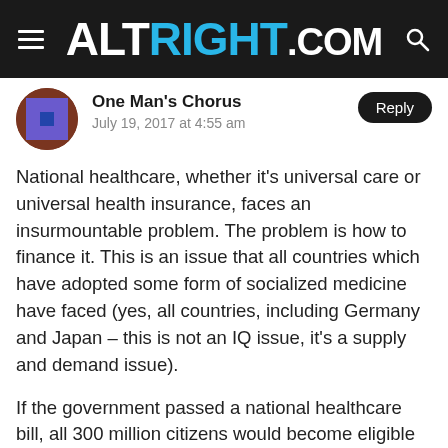ALTRIGHT.COM
One Man's Chorus
July 19, 2017 at 4:55 am
National healthcare, whether it's universal care or universal health insurance, faces an insurmountable problem. The problem is how to finance it. This is an issue that all countries which have adopted some form of socialized medicine have faced (yes, all countries, including Germany and Japan – this is not an IQ issue, it's a supply and demand issue).
If the government passed a national healthcare bill, all 300 million citizens would become eligible for care, so you'd increase demand for health care. But what about the supply of health care? Would there suddenly